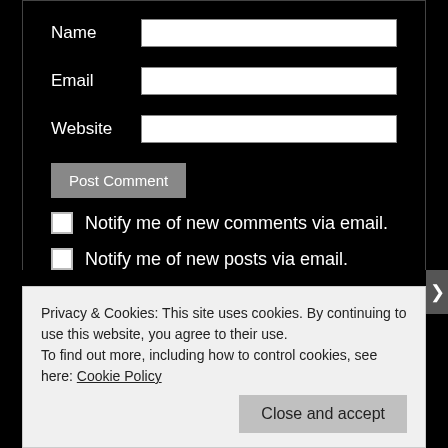Name
Email
Website
Post Comment
Notify me of new comments via email.
Notify me of new posts via email.
Recent Posts
Covid Quarantine Kiwi Day 10
Privacy & Cookies: This site uses cookies. By continuing to use this website, you agree to their use.
To find out more, including how to control cookies, see here: Cookie Policy
Close and accept